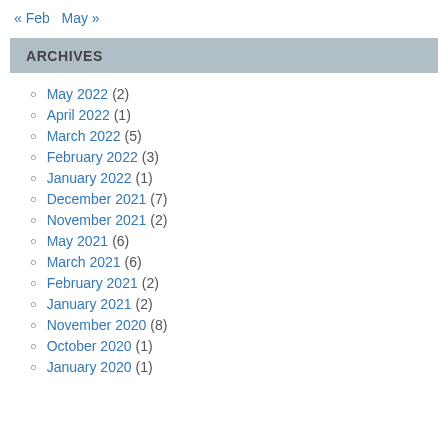« Feb   May »
ARCHIVES
May 2022 (2)
April 2022 (1)
March 2022 (5)
February 2022 (3)
January 2022 (1)
December 2021 (7)
November 2021 (2)
May 2021 (6)
March 2021 (6)
February 2021 (2)
January 2021 (2)
November 2020 (8)
October 2020 (1)
January 2020 (1)